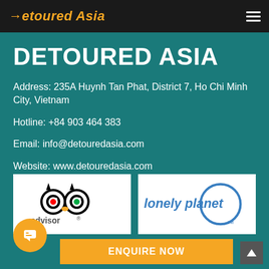Detoured Asia
DETOURED ASIA
Address: 235A Huynh Tan Phat, District 7, Ho Chi Minh City, Vietnam
Hotline: +84 903 464 383
Email: info@detouredasia.com
Website: www.detouredasia.com
Recommended on
[Figure (logo): TripAdvisor logo with owl icon and 'advisor' text]
[Figure (logo): Lonely Planet logo with circle and 'lonely planet' text in blue]